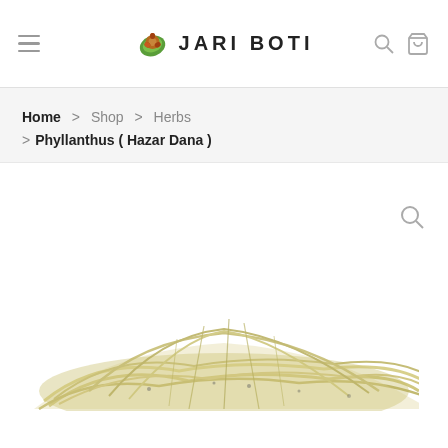JARI BOTI
Home > Shop > Herbs > Phyllanthus ( Hazar Dana )
[Figure (photo): Dried herb plant (Phyllanthus / Hazar Dana) shown as dried grass/straw-like material piled on white background with magnifying glass zoom icon overlay]